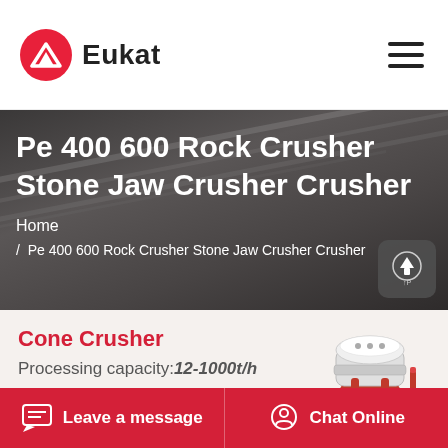Eukat
Pe 400 600 Rock Crusher Stone Jaw Crusher Crusher
Home / Pe 400 600 Rock Crusher Stone Jaw Crusher Crusher
[Figure (photo): Industrial cone crusher machine in white and red, positioned in the product section]
Cone Crusher
Processing capacity:12-1000t/h
Leave a message   Chat Online